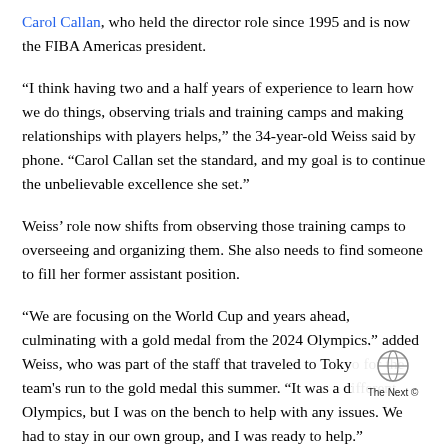Carol Callan, who held the director role since 1995 and is now the FIBA Americas president.
“I think having two and a half years of experience to learn how we do things, observing trials and training camps and making relationships with players helps,” the 34-year-old Weiss said by phone. “Carol Callan set the standard, and my goal is to continue the unbelievable excellence she set.”
Weiss’ role now shifts from observing those training camps to overseeing and organizing them. She also needs to find someone to fill her former assistant position.
“We are focusing on the World Cup and years ahead, culminating with a gold medal from the 2024 Olympics,” added Weiss, who was part of the staff that traveled to Tokyo for the team's run to the gold medal this summer. “It was a different Olympics, but I was on the bench to help with any issues. We had to stay in our own group, and I was ready to help.”
Weiss was born in Cincinnati, but her family moved to
[Figure (logo): The Next IX watermark logo with basketball icon]